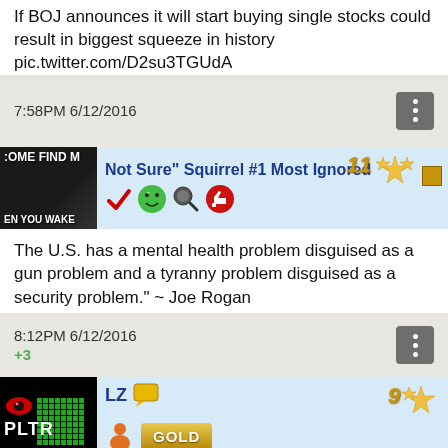If BOJ announces it will start buying single stocks could result in biggest squeeze in history pic.twitter.com/D2su3TGUdA
7:58PM 6/12/2016
[Figure (screenshot): Forum user banner: movie/meme image on left with text 'COME FIND M' and 'EN YOU WAKE', username 'Not Sure" Squirrel #1 Most Ignored' with rank 11 badge and stars, icons including checkmark, smiley, search, thumbs-up on blue background]
The U.S. has a mental health problem disguised as a gun problem and a tyranny problem disguised as a security problem." ~ Joe Rogan
8:12PM 6/12/2016
+3
[Figure (screenshot): Forum user banner: PLTR logo on dark background with green binary grid, username 'LZ' with chat icon, rank 9 badge with stars, orange icon and GOLD button on blue background]